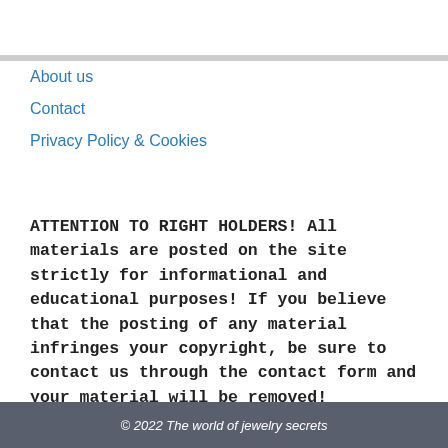About us
Contact
Privacy Policy & Cookies
ATTENTION TO RIGHT HOLDERS! All materials are posted on the site strictly for informational and educational purposes! If you believe that the posting of any material infringes your copyright, be sure to contact us through the contact form and your material will be removed!
© 2022 The world of jewelry secrets